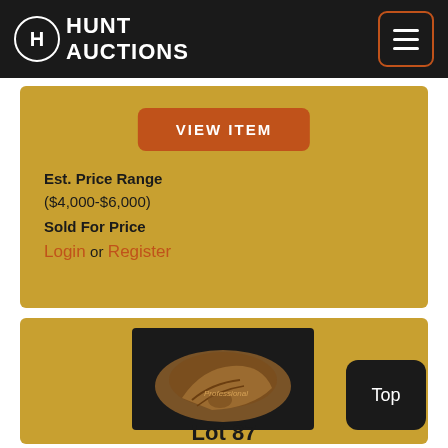HUNT AUCTIONS
VIEW ITEM
Est. Price Range
($4,000-$6,000)
Sold For Price
Login or Register
[Figure (photo): Vintage baseball glove on black background]
Top
Lot 87